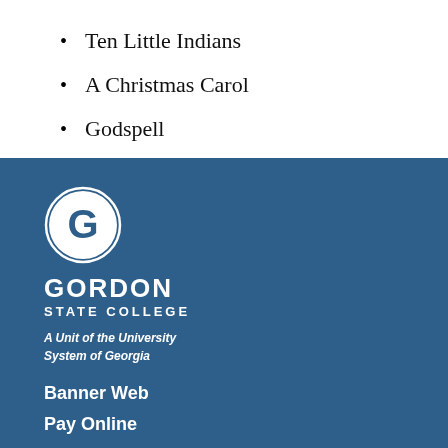Ten Little Indians
A Christmas Carol
Godspell
[Figure (logo): Gordon State College logo: white circle with G letter inside, on blue background, with text GORDON STATE COLLEGE and tagline A Unit of the University System of Georgia]
Banner Web
Pay Online
Log-in Station